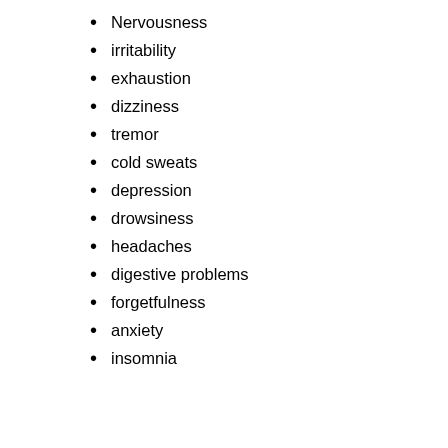Nervousness
irritability
exhaustion
dizziness
tremor
cold sweats
depression
drowsiness
headaches
digestive problems
forgetfulness
anxiety
insomnia